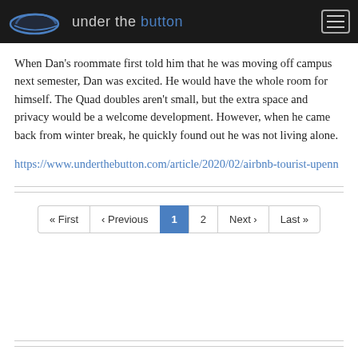under the button
When Dan's roommate first told him that he was moving off campus next semester, Dan was excited. He would have the whole room for himself. The Quad doubles aren't small, but the extra space and privacy would be a welcome development. However, when he came back from winter break, he quickly found out he was not living alone.
https://www.underthebutton.com/article/2020/02/airbnb-tourist-upenn